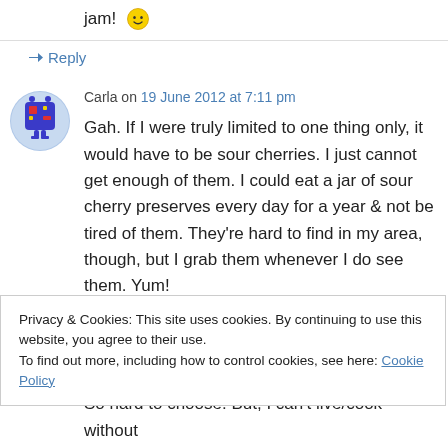jam!  🙂
↪ Reply
Carla on 19 June 2012 at 7:11 pm
Gah. If I were truly limited to one thing only, it would have to be sour cherries. I just cannot get enough of them. I could eat a jar of sour cherry preserves every day for a year & not be tired of them. They're hard to find in my area, though, but I grab them whenever I do see them. Yum!
Privacy & Cookies: This site uses cookies. By continuing to use this website, you agree to their use.
To find out more, including how to control cookies, see here: Cookie Policy
Close and accept
So hard to choose! But, I can't live/cook without